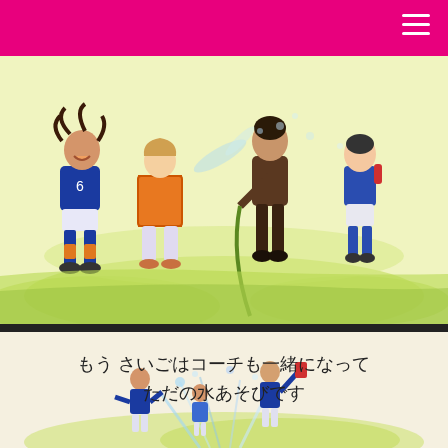[Figure (illustration): Watercolor illustration of children in blue soccer uniforms playing with water from a hose on a green field. One child holds an orange box/bag, another holds a hose spraying water. A person in red/orange is also present. Background is green grass with yellow-green tones.]
もう さいごはコーチも一緒になって ただの水あそびです
[Figure (illustration): Watercolor illustration showing children in blue uniforms playing with water, viewed from behind, splashing on a green field.]